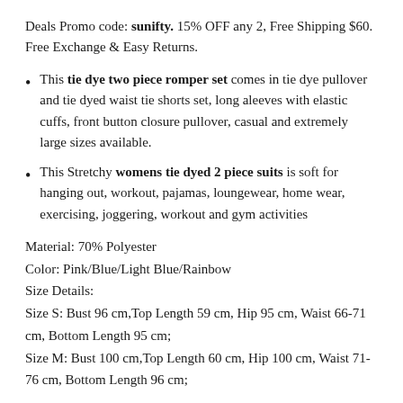Deals Promo code: sunifty. 15% OFF any 2, Free Shipping $60. Free Exchange & Easy Returns.
This tie dye two piece romper set comes in tie dye pullover and tie dyed waist tie shorts set, long aleeves with elastic cuffs, front button closure pullover, casual and extremely large sizes available.
This Stretchy womens tie dyed 2 piece suits is soft for hanging out, workout, pajamas, loungewear, home wear, exercising, joggering, workout and gym activities
Material: 70% Polyester
Color: Pink/Blue/Light Blue/Rainbow
Size Details:
Size S: Bust 96 cm,Top Length 59 cm, Hip 95 cm, Waist 66-71 cm, Bottom Length 95 cm;
Size M: Bust 100 cm,Top Length 60 cm, Hip 100 cm, Waist 71-76 cm, Bottom Length 96 cm;